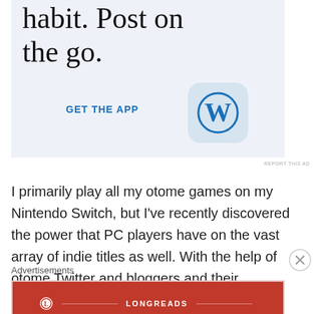[Figure (screenshot): WordPress 'Get the App' advertisement banner with light blue background, large text 'habit. Post on the go.', blue 'GET THE APP' call to action link, and WordPress logo icon]
I primarily play all my otome games on my Nintendo Switch, but I've recently discovered the power that PC players have on the vast array of indie titles as well. With the help of otome Twitter and bloggers and their communities like Blerdy Otome, I have an endless list of games I hope to try out on Switch and PC.
Advertisements
[Figure (screenshot): Longreads advertisement banner with dark red background showing Longreads logo and tagline 'The best stories on the web — ours, and everyone else's.']